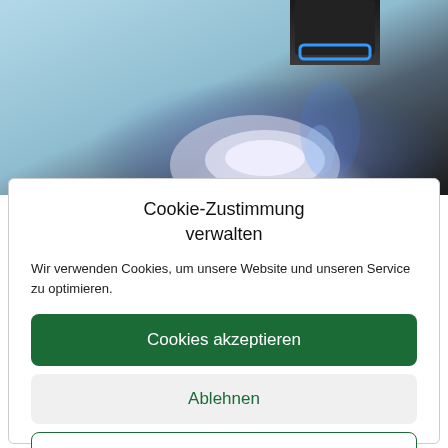[Figure (photo): Photo of a dental 3D scanner scanning a dental model/cast with gloved hand, blue light visible, dark device at top]
Cookie-Zustimmung verwalten
Wir verwenden Cookies, um unsere Website und unseren Service zu optimieren.
Cookies akzeptieren
Ablehnen
Einstellungen anzeigen